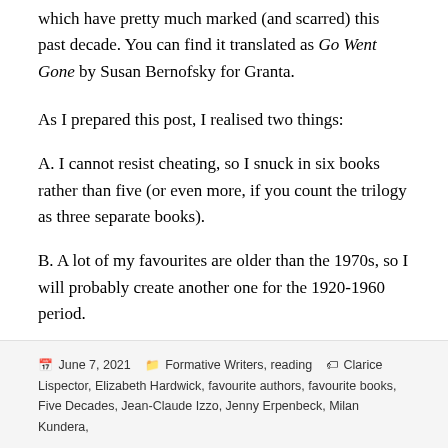which have pretty much marked (and scarred) this past decade. You can find it translated as Go Went Gone by Susan Bernofsky for Granta.
As I prepared this post, I realised two things:
A. I cannot resist cheating, so I snuck in six books rather than five (or even more, if you count the trilogy as three separate books).
B. A lot of my favourites are older than the 1970s, so I will probably create another one for the 1920-1960 period.
June 7, 2021  Formative Writers, reading  Clarice Lispector, Elizabeth Hardwick, favourite authors, favourite books, Five Decades, Jean-Claude Izzo, Jenny Erpenbeck, Milan Kundera,